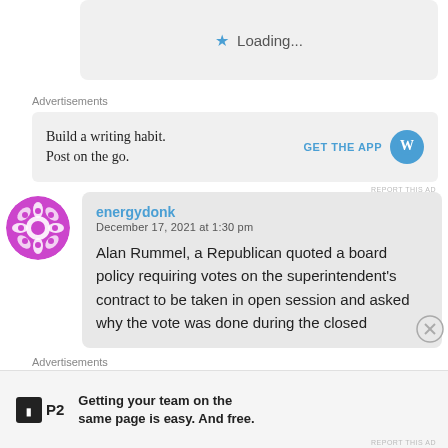[Figure (screenshot): Loading indicator box with blue star icon and 'Loading...' text]
Advertisements
[Figure (screenshot): WordPress advertisement: 'Build a writing habit. Post on the go.' with GET THE APP button and WordPress logo]
REPORT THIS AD
[Figure (illustration): Purple mandala/snowflake avatar icon for user energydonk]
energydonk
December 17, 2021 at 1:30 pm

Alan Rummel, a Republican quoted a board policy requiring votes on the superintendent's contract to be taken in open session and asked why the vote was done during the closed
Advertisements
[Figure (screenshot): P2 advertisement: 'Getting your team on the same page is easy. And free.' with P2 logo]